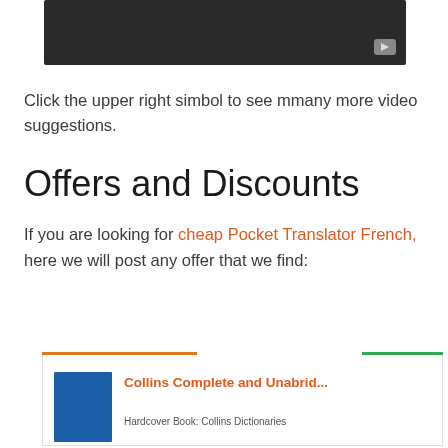[Figure (screenshot): Dark video player thumbnail with play button icon in upper right corner]
Click the upper right simbol to see mmany more video suggestions.
Offers and Discounts
If you are looking for cheap Pocket Translator French, here we will post any offer that we find:
[Figure (other): Product card showing BESTSELLER NO. 1 badge in orange and SALE badge in green, with a blue book image and title Collins Complete and Unabrid... with subtitle Hardcover Book: Collins Dictionaries]